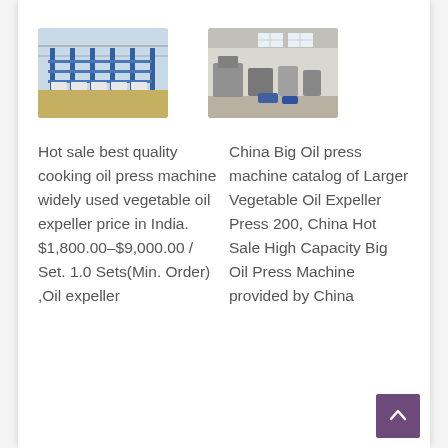[Figure (photo): Industrial facility interior with blue metal shelving/racks in rows under a steel roof structure]
[Figure (photo): Factory floor interior with machinery and equipment, open windows with natural light]
Hot sale best quality cooking oil press machine widely used vegetable oil expeller price in India. $1,800.00–$9,000.00 / Set. 1.0 Sets(Min. Order) ,Oil expeller
China Big Oil press machine catalog of Larger Vegetable Oil Expeller Press 200, China Hot Sale High Capacity Big Oil Press Machine provided by China